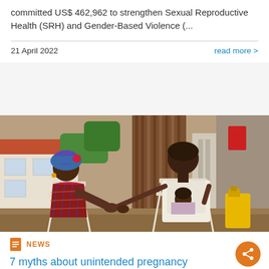committed US$ 462,962 to strengthen Sexual Reproductive Health (SRH) and Gender-Based Violence (...
21 April 2022
read more >
[Figure (photo): Two women sitting outdoors on folding chairs, one in a colorful headwrap and patterned dress leaning toward the other who holds a young child on her lap. Background shows a residential area with buildings and a yellow container on the right.]
NEWS
7 myths about unintended pregnancy